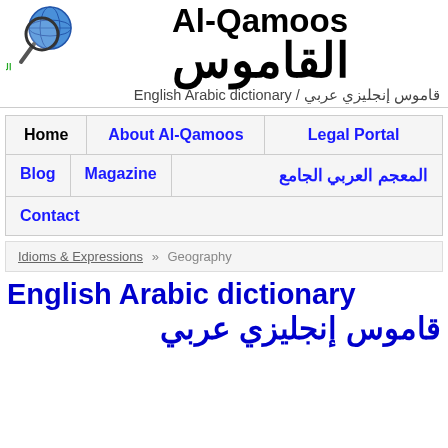[Figure (logo): Al-Qamoos logo with globe and magnifying glass, Arabic text القاموس in green]
Al-Qamoos
القاموس
English Arabic dictionary / قاموس إنجليزي عربي
Home | About Al-Qamoos | Legal Portal | Blog | Magazine | المعجم العربي الجامع | Contact
Idioms & Expressions » Geography
English Arabic dictionary قاموس إنجليزي عربي